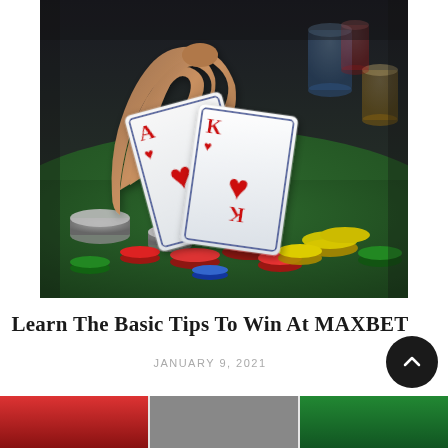[Figure (photo): Close-up photo of a hand holding two playing cards (Ace of Hearts and King of Hearts) above a casino table covered with colorful poker chips (red, yellow, green, blue, grey) and a green felt surface. Colored poker chip stacks visible in the blurred background.]
Learn The Basic Tips To Win At MAXBET
JANUARY 9, 2021
[Figure (photo): Partial view of another casino/gambling related image at the bottom of the page, partially cropped.]